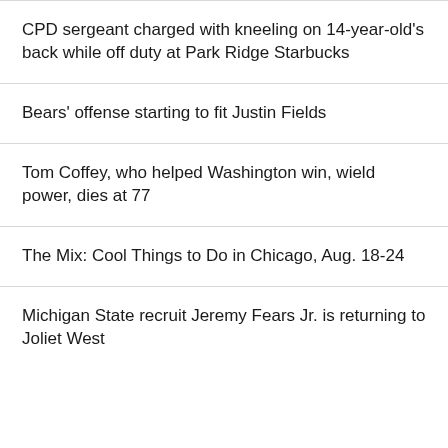CPD sergeant charged with kneeling on 14-year-old's back while off duty at Park Ridge Starbucks
Bears' offense starting to fit Justin Fields
Tom Coffey, who helped Washington win, wield power, dies at 77
The Mix: Cool Things to Do in Chicago, Aug. 18-24
Michigan State recruit Jeremy Fears Jr. is returning to Joliet West